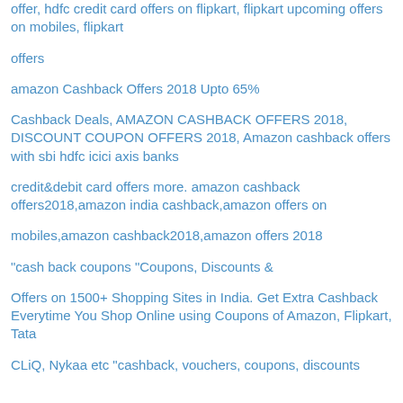offer, hdfc credit card offers on flipkart, flipkart upcoming offers on mobiles, flipkart
offers
amazon Cashback Offers 2018 Upto 65%
Cashback Deals, AMAZON CASHBACK OFFERS 2018, DISCOUNT COUPON OFFERS 2018, Amazon cashback offers with sbi hdfc icici axis banks
credit&debit card offers more. amazon cashback offers2018,amazon india cashback,amazon offers on
mobiles,amazon cashback2018,amazon offers 2018
"cash back coupons "Coupons, Discounts &
Offers on 1500+ Shopping Sites in India. Get Extra Cashback Everytime You Shop Online using Coupons of Amazon, Flipkart, Tata
CLiQ, Nykaa etc "cashback, vouchers, coupons, discounts